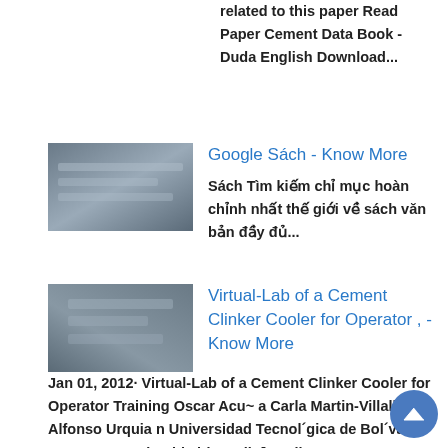related to this paper Read Paper Cement Data Book - Duda English Download...
[Figure (photo): Thumbnail image of industrial equipment, grayish-blue tones]
Google Sách - Know More
Sách Tìm kiếm chỉ mục hoàn chỉnh nhất thế giới về sách văn bản đầy đủ...
[Figure (photo): Thumbnail image of industrial conveyor or cement equipment]
Virtual-Lab of a Cement Clinker Cooler for Operator , - Know More
Jan 01, 2012· Virtual-Lab of a Cement Clinker Cooler for Operator Training Oscar Acu~ a Carla Martin-Villalba Alfonso Urquia n Universidad Tecnol´gica de Bol´var, Cartagena, Colombia i (e-mail: [email protected])De...